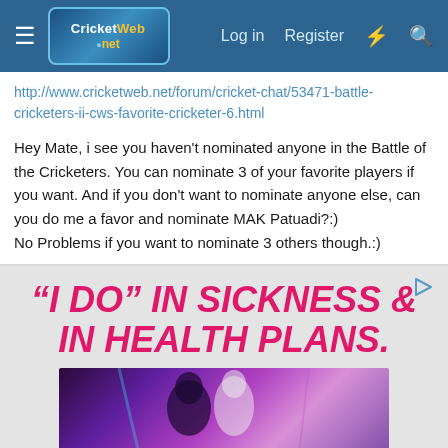CricketWeb.net — Log in | Register
http://www.cricketweb.net/forum/cricket-chat/53471-battle-cricketers-ii-cws-favorite-cricketer-6.html
Hey Mate, i see you haven't nominated anyone in the Battle of the Cricketers. You can nominate 3 of your favorite players if you want. And if you don't want to nominate anyone else, can you do me a favor and nominate MAK Patuadi?:)
No Problems if you want to nominate 3 others though.:)
[Figure (screenshot): Advertisement banner with hot pink bold italic text reading '"I DO" IN SICKNESS & IN HEALTH PLANS.' on a light grey background, with a play button icon in the top right and a photo of a couple at the bottom.]